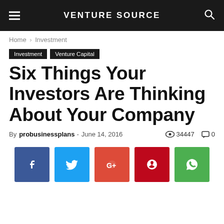VENTURE SOURCE
Home › Investment
Investment   Venture Capital
Six Things Your Investors Are Thinking About Your Company
By probusinessplans - June 14, 2016   👁 34447   💬 0
[Figure (other): Social sharing buttons: Facebook, Twitter, Google+, Pinterest, WhatsApp]